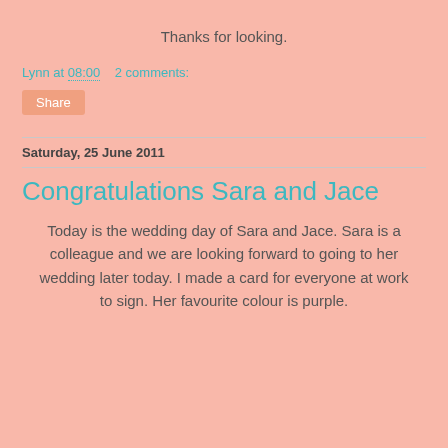Thanks for looking.
Lynn at 08:00   2 comments:
Share
Saturday, 25 June 2011
Congratulations Sara and Jace
Today is the wedding day of Sara and Jace. Sara is a colleague and we are looking forward to going to her wedding later today. I made a card for everyone at work to sign. Her favourite colour is purple.